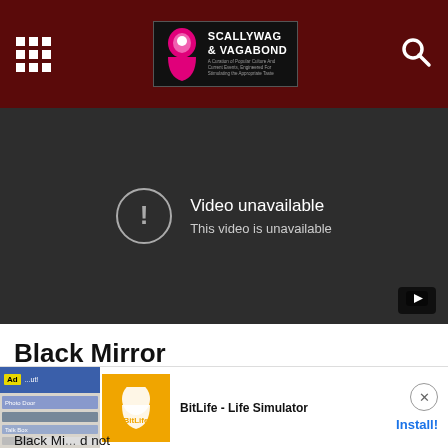Scallywag & Vagabond
[Figure (screenshot): Embedded YouTube video player showing 'Video unavailable - This video is unavailable' error message on dark background]
Black Mirror
Former journalist Charlie Brooker's most celebrated TV work to date. Black Mirror is a disturbing truth of what may become of us with technological advancements. SPOILER ALERT! Not at all good.
Black Mi... d not
[Figure (screenshot): BitLife - Life Simulator advertisement banner with Install button]